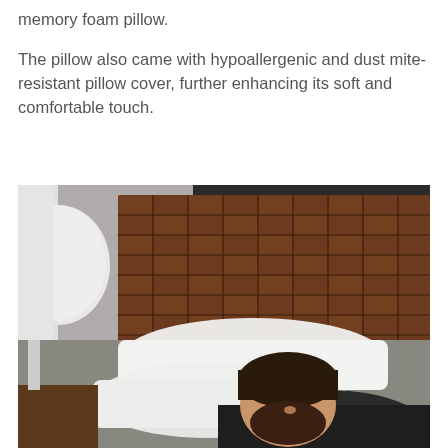memory foam pillow.
The pillow also came with hypoallergenic and dust mite-resistant pillow cover, further enhancing its soft and comfortable touch.
[Figure (photo): A bearded man lying in bed resting his head on a white pillow, against a woven leather headboard. A white lamp is visible on the left side.]